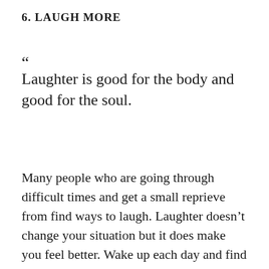6. LAUGH MORE
“Laughter is good for the body and good for the soul.
Many people who are going through difficult times and get a small reprieve from find ways to laugh. Laughter doesn’t change your situation but it does make you feel better. Wake up each day and find reasons to smile and